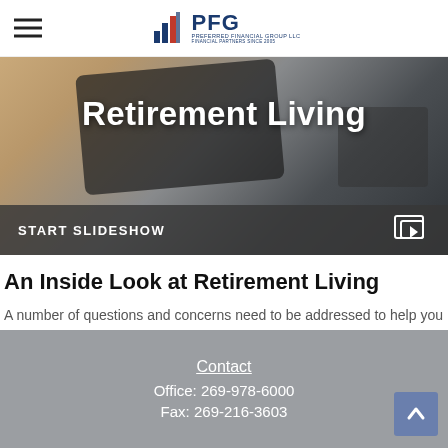[Figure (logo): PFG Preferred Financial Group LLC logo with bar chart icon]
[Figure (photo): Hero image showing tablet device with 'Retirement Living' text overlay and START SLIDESHOW button at bottom]
An Inside Look at Retirement Living
A number of questions and concerns need to be addressed to help you better prepare for retirement living.
Contact
Office: 269-978-6000
Fax: 269-216-3603